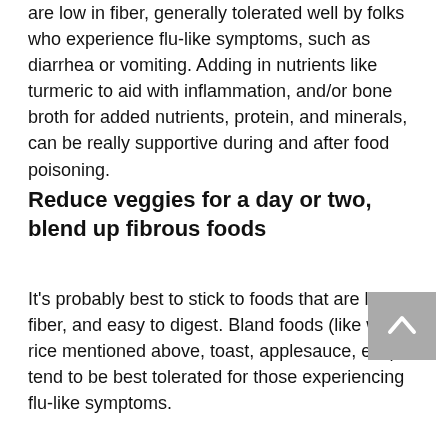are low in fiber, generally tolerated well by folks who experience flu-like symptoms, such as diarrhea or vomiting. Adding in nutrients like turmeric to aid with inflammation, and/or bone broth for added nutrients, protein, and minerals, can be really supportive during and after food poisoning.
Reduce veggies for a day or two, blend up fibrous foods
It's probably best to stick to foods that are low in fiber, and easy to digest. Bland foods (like white rice mentioned above, toast, applesauce, etc.), tend to be best tolerated for those experiencing flu-like symptoms.